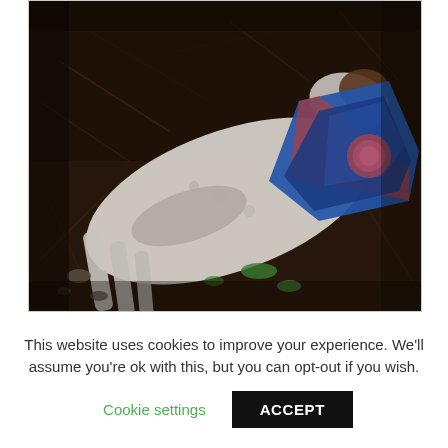[Figure (photo): A photograph of a dead or injured white animal (likely a sheep or goat) lying on dark soil among dry twigs and sparse green vegetation. The animal is wearing a blue and red blanket or rug with a circular logo on it. The image is dark/nighttime.]
This website uses cookies to improve your experience. We'll assume you're ok with this, but you can opt-out if you wish.
Cookie settings
ACCEPT